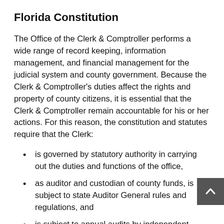Florida Constitution
The Office of the Clerk & Comptroller performs a wide range of record keeping, information management, and financial management for the judicial system and county government. Because the Clerk & Comptroller's duties affect the rights and property of county citizens, it is essential that the Clerk & Comptroller remain accountable for his or her actions. For this reason, the constitution and statutes require that the Clerk:
is governed by statutory authority in carrying out the duties and functions of the office,
as auditor and custodian of county funds, is subject to state Auditor General rules and regulations, and
is subject to annual audits by independent